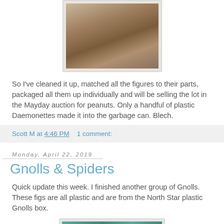[Figure (photo): A cat scratching post/tree with rope-wrapped poles and a round platform base, photographed indoors]
So I've cleaned it up, matched all the figures to their parts, packaged all them up individually and will be selling the lot in the Mayday auction for peanuts. Only a handful of plastic Daemonettes made it into the garbage can. Blech.
Scott M at 4:46 PM    1 comment:
Monday, April 22, 2019
Gnolls & Spiders
Quick update this week. I finished another group of Gnolls. These figs are all plastic and are from the North Star plastic Gnolls box.
[Figure (photo): Partial view of painted miniature figures on a teal/green background]